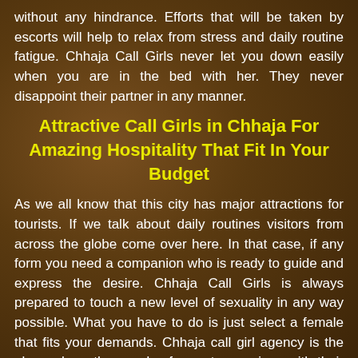without any hindrance. Efforts that will be taken by escorts will help to relax from stress and daily routine fatigue. Chhaja Call Girls never let you down easily when you are in the bed with her. They never disappoint their partner in any manner.
Attractive Call Girls in Chhaja For Amazing Hospitality That Fit In Your Budget
As we all know that this city has major attractions for tourists. If we talk about daily routines visitors from across the globe come over here. In that case, if any form you need a companion who is ready to guide and express the desire. Chhaja Call Girls is always prepared to touch a new level of sexuality in any way possible. What you have to do is just select a female that fits your demands. Chhaja call girl agency is the place where thousands of escorts are given with their all details, like their rates. All these female escorts are working here independently without any pressure. After